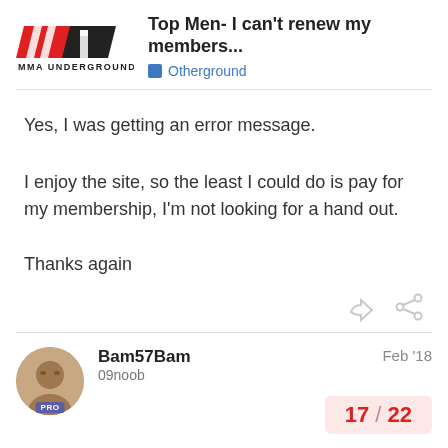Top Men- I can't renew my members... | Otherground | MMA Underground
Yes, I was getting an error message.
I enjoy the site, so the least I could do is pay for my membership, I'm not looking for a hand out.
Thanks again
Bam57Bam · 09noob · Feb '18
17 / 22